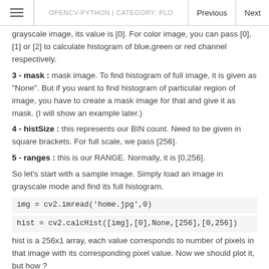OPENCV-PYTHON | CATEGORY: PLOT | Previous | Next
grayscale image, its value is [0]. For color image, you can pass [0],[1] or [2] to calculate histogram of blue,green or red channel respectively.
3 - mask : mask image. To find histogram of full image, it is given as "None". But if you want to find histogram of particular region of image, you have to create a mask image for that and give it as mask. (I will show an example later.)
4 - histSize : this represents our BIN count. Need to be given in square brackets. For full scale, we pass [256].
5 - ranges : this is our RANGE. Normally, it is [0,256].
So let's start with a sample image. Simply load an image in grayscale mode and find its full histogram.
hist is a 256x1 array, each value corresponds to number of pixels in that image with its corresponding pixel value. Now we should plot it, but how ?